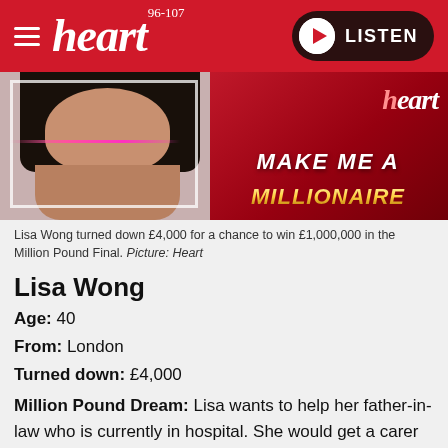heart 96-107 LISTEN
[Figure (photo): Banner image showing Lisa Wong and 'Heart Make Me A Millionaire' promotional graphic]
Lisa Wong turned down £4,000 for a chance to win £1,000,000 in the Million Pound Final. Picture: Heart
Lisa Wong
Age: 40
From: London
Turned down: £4,000
Million Pound Dream: Lisa wants to help her father-in-law who is currently in hospital. She would get a carer for him